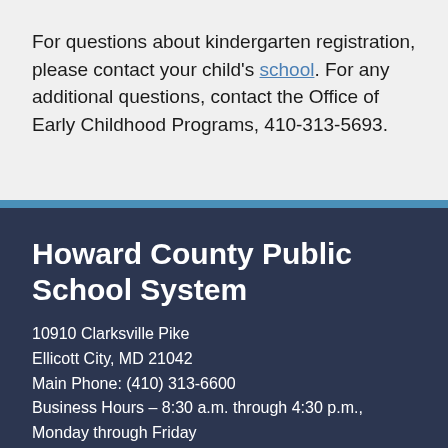For questions about kindergarten registration, please contact your child's school. For any additional questions, contact the Office of Early Childhood Programs, 410-313-5693.
Howard County Public School System
10910 Clarksville Pike
Ellicott City, MD 21042
Main Phone: (410) 313-6600
Business Hours – 8:30 a.m. through 4:30 p.m., Monday through Friday
Staff Directory | Inclusivity & Accessibility